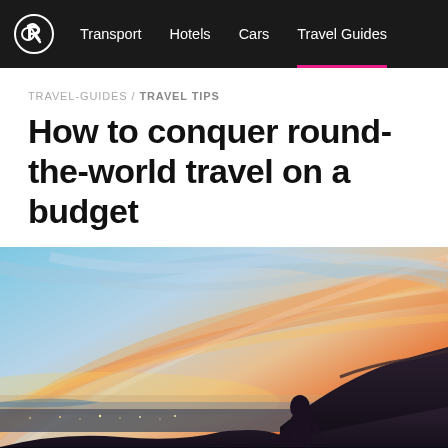Transport  Hotels  Cars  Travel Guides
TRAVEL-GUIDES / TRAVEL TIPS
How to conquer round-the-world travel on a budget
[Figure (photo): Person sitting on a rocky hilltop overlooking a city at sunset, with dramatic orange and blue sky with streaking clouds]